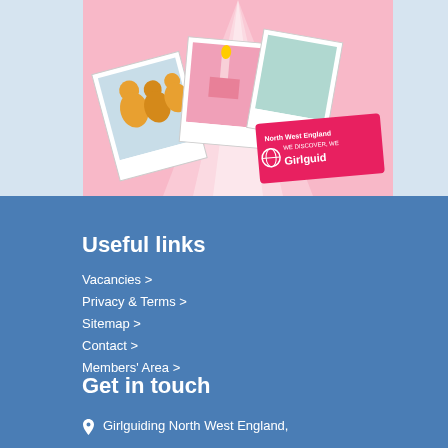[Figure (illustration): Girlguiding North West England illustration showing photo collage with people silhouettes and a branded badge/card on a pink background]
Useful links
Vacancies >
Privacy & Terms >
Sitemap >
Contact >
Members' Area >
Get in touch
Girlguiding North West England,